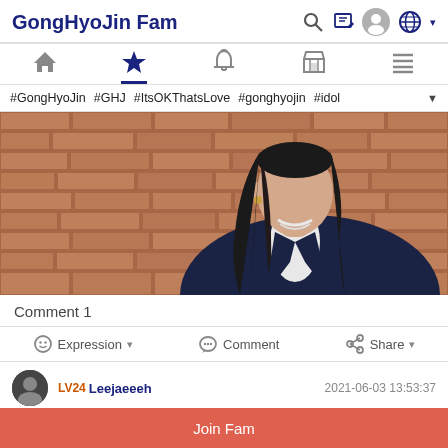GongHyoJin Fam
[Figure (screenshot): Navigation bar with home, star (active), bell, store, and menu icons. Star icon has blue underline indicating active state.]
#GongHyoJin #GHJ #ItsOKThatsLove #gonghyojin #idol
[Figure (photo): Photo of a young woman with long black hair wearing a dark navy blazer over a white ruffled blouse, standing against a brick wall background.]
Comment 1
Expression ▾   Comment   Share ▾
LV24 Leejaeeeh   2021-06-03 13:53:37
Join Fam